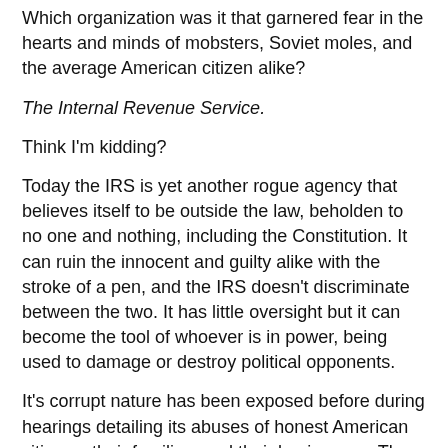Which organization was it that garnered fear in the hearts and minds of mobsters, Soviet moles, and the average American citizen alike?
The Internal Revenue Service.
Think I'm kidding?
Today the IRS is yet another rogue agency that believes itself to be outside the law, beholden to no one and nothing, including the Constitution. It can ruin the innocent and guilty alike with the stroke of a pen, and the IRS doesn't discriminate between the two. It has little oversight but it can become the tool of whoever is in power, being used to damage or destroy political opponents.
It's corrupt nature has been exposed before during hearings detailing its abuses of honest American citizens, their families, and their businesses. Then Senator Fred Thompson (R-TN) was one of the inquisitors who delved into the institutional abuses and exposed them to the American public. One might think that the IRS would have learned its lesson, and it didn't fortunately, it with any other...